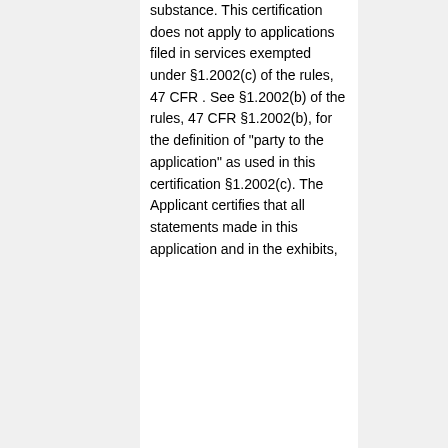substance. This certification does not apply to applications filed in services exempted under §1.2002(c) of the rules, 47 CFR . See §1.2002(b) of the rules, 47 CFR §1.2002(b), for the definition of "party to the application" as used in this certification §1.2002(c). The Applicant certifies that all statements made in this application and in the exhibits,